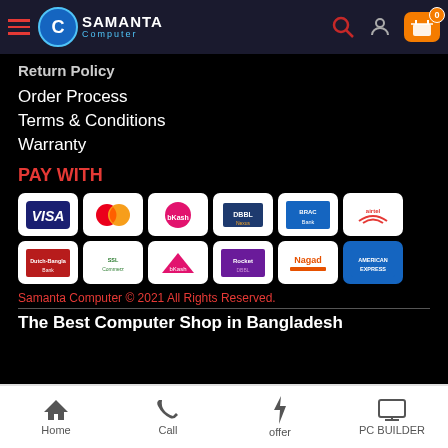[Figure (logo): Samanta Computer website header with hamburger menu, logo, search icon, user icon, and shopping cart with 0 items]
Return Policy
Order Process
Terms & Conditions
Warranty
PAY WITH
[Figure (infographic): Payment method icons: Visa, Mastercard, bKash (green), DBBL Nexus, BRAC Bank, Airtel, Dutch-Bangla, SSL Commerz, bKash arrow, bKash QR, Nagad, American Express]
Samanta Computer © 2021 All Rights Reserved.
The Best Computer Shop in Bangladesh
Home | Call | offer | PC BUILDER